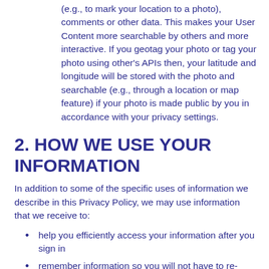(e.g., to mark your location to a photo), comments or other data. This makes your User Content more searchable by others and more interactive. If you geotag your photo or tag your photo using other's APIs then, your latitude and longitude will be stored with the photo and searchable (e.g., through a location or map feature) if your photo is made public by you in accordance with your privacy settings.
2. HOW WE USE YOUR INFORMATION
In addition to some of the specific uses of information we describe in this Privacy Policy, we may use information that we receive to:
help you efficiently access your information after you sign in
remember information so you will not have to re-enter it during your visit or the next time you visit the Service;
provide personalized content and information to